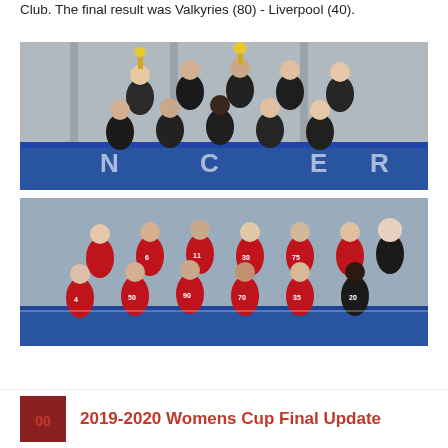Club. The final result was Valkyries (80) - Liverpool (40).
[Figure (photo): Team photo of women's basketball team in black uniforms (Valkyries) celebrating with trophies on a sports court]
[Figure (photo): Team photo of women's basketball team in red uniforms (Liverpool) posing on a sports court with a male coach in black]
2019-2020 Womens Cup Final Update